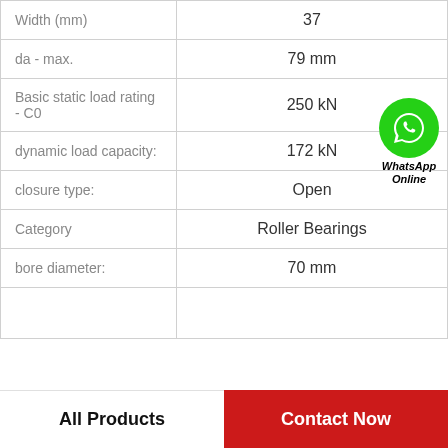| Property | Value |
| --- | --- |
| Width (mm) | 37 |
| da - max. | 79 mm |
| Basic static load rating - C0 | 250 kN |
| dynamic load capacity: | 172 kN |
| closure type: | Open |
| Category | Roller Bearings |
| bore diameter: | 70 mm |
|  |  |
WhatsApp Online
All Products | Contact Now